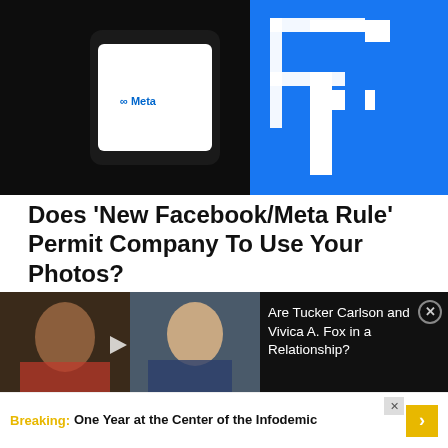[Figure (photo): A hand holding a smartphone displaying the Meta logo (infinity symbol and 'Meta' text), set against a blue Facebook logo background]
Does ‘New Facebook/Meta Rule’ Permit Company To Use Your Photos?
[Figure (photo): Advertisement showing photos of two people (a woman and a man) with text: Are Tucker Carlson and Vivica A. Fox in a Relationship?]
Breaking: One Year at the Center of the Infodemic